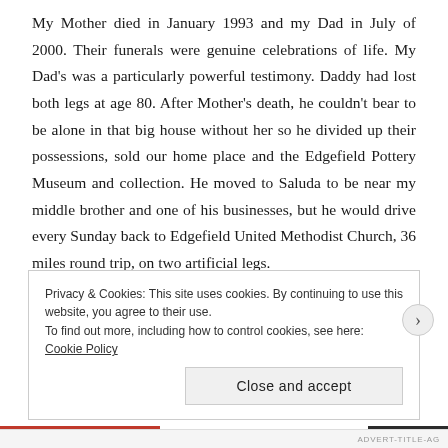My Mother died in January 1993 and my Dad in July of 2000. Their funerals were genuine celebrations of life. My Dad's was a particularly powerful testimony. Daddy had lost both legs at age 80. After Mother's death, he couldn't bear to be alone in that big house without her so he divided up their possessions, sold our home place and the Edgefield Pottery Museum and collection. He moved to Saluda to be near my middle brother and one of his businesses, but he would drive every Sunday back to Edgefield United Methodist Church, 36 miles round trip, on two artificial legs.
His last Sunday there was a good one. He drove himself home
Privacy & Cookies: This site uses cookies. By continuing to use this website, you agree to their use.
To find out more, including how to control cookies, see here: Cookie Policy
Close and accept